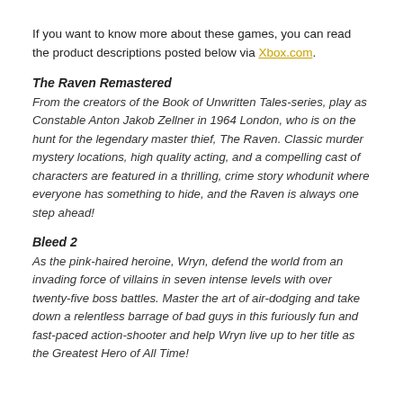If you want to know more about these games, you can read the product descriptions posted below via Xbox.com.
The Raven Remastered
From the creators of the Book of Unwritten Tales-series, play as Constable Anton Jakob Zellner in 1964 London, who is on the hunt for the legendary master thief, The Raven. Classic murder mystery locations, high quality acting, and a compelling cast of characters are featured in a thrilling, crime story whodunit where everyone has something to hide, and the Raven is always one step ahead!
Bleed 2
As the pink-haired heroine, Wryn, defend the world from an invading force of villains in seven intense levels with over twenty-five boss battles. Master the art of air-dodging and take down a relentless barrage of bad guys in this furiously fun and fast-paced action-shooter and help Wryn live up to her title as the Greatest Hero of All Time!